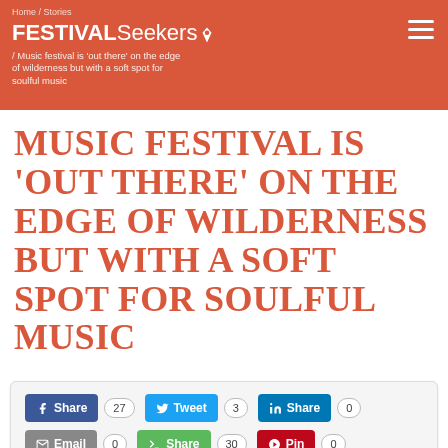FestivalSeekers
Home / Stories / Music festival is 'out there' on the edge of wilderness but with a soft spot for soulful music
MUSIC FESTIVAL IS 'OUT THERE' ON THE EDGE OF WILDERNESS BUT WITH A SOFT SPOT FOR SOULFUL MUSIC
Share 27 | Tweet 3 | Share 0 | Email 0 | Share 30 | Pin 0